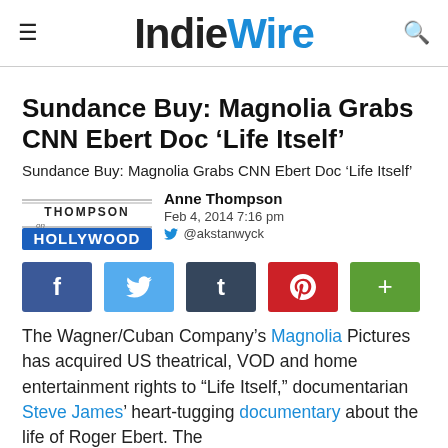IndieWire
Sundance Buy: Magnolia Grabs CNN Ebert Doc ‘Life Itself’
Sundance Buy: Magnolia Grabs CNN Ebert Doc ‘Life Itself’
Anne Thompson
Feb 4, 2014 7:16 pm
@akstanwyck
[Figure (logo): Thompson on Hollywood logo with text THOMPSON on HOLLYWOOD in blue stylized font]
[Figure (infographic): Social sharing buttons: Facebook, Twitter, Tumblr, Pinterest, Plus]
The Wagner/Cuban Company’s Magnolia Pictures has acquired US theatrical, VOD and home entertainment rights to “Life Itself,” documentarian Steve James’ heart-tugging documentary about the life of Roger Ebert. The